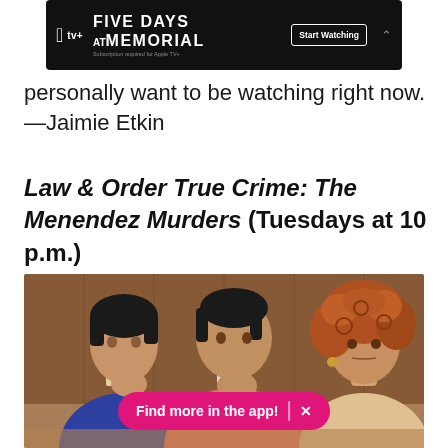[Figure (screenshot): Apple TV+ advertisement banner for 'Five Days at Memorial' with dark background, Apple TV+ logo, title text, 'Start Watching' button, and a chevron.]
personally want to be watching right now. —Jaimie Etkin
Law & Order True Crime: The Menendez Murders (Tuesdays at 10 p.m.)
[Figure (photo): Courtroom photograph showing three people seated: a young man in a blue sweater on the left, a young man in a pink/salmon jacket in the center with his fist raised to his chin, and a woman with curly auburn hair on the right, all appearing to watch proceedings.]
[Figure (screenshot): Pink/magenta pill-shaped banner at bottom reading 'Find more in the app!' with a divider and X close button.]